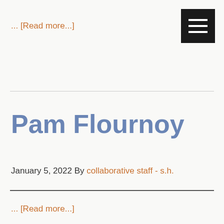... [Read more...]
[Figure (other): Hamburger menu icon — black square with three white horizontal lines]
Pam Flournoy
January 5, 2022 By collaborative staff - s.h.
... [Read more...]